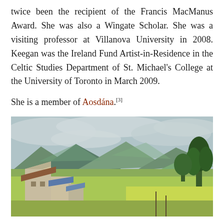twice been the recipient of the Francis MacManus Award. She was also a Wingate Scholar. She was a visiting professor at Villanova University in 2008. Keegan was the Ireland Fund Artist-in-Residence in the Celtic Studies Department of St. Michael's College at the University of Toronto in March 2009.
She is a member of Aosdána.[3]
[Figure (illustration): A painting depicting a rural Irish landscape with stone cottages in the foreground, green fields, trees, and rolling mountains under a cloudy sky.]